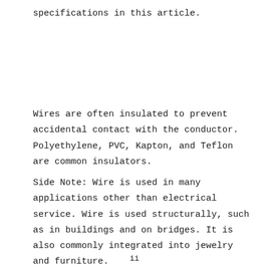specifications in this article.
Wires are often insulated to prevent accidental contact with the conductor. Polyethylene, PVC, Kapton, and Teflon are common insulators.
Side Note: Wire is used in many applications other than electrical service. Wire is used structurally, such as in buildings and on bridges. It is also commonly integrated into jewelry and furniture.
ii